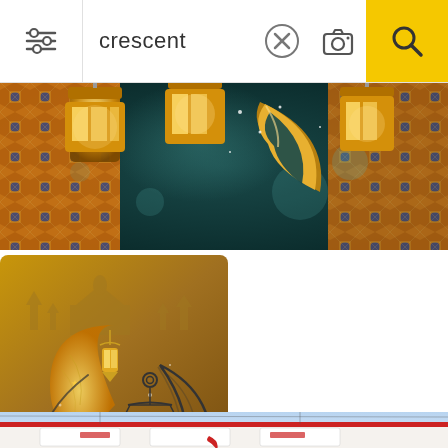[Figure (screenshot): Mobile app search bar showing filter icon, search field with text 'crescent', X button, camera icon, and yellow search button]
[Figure (illustration): Wide banner illustration of golden Ramadan lanterns hanging against teal/dark blue patterned background with large golden crescent moon]
[Figure (illustration): Ramadan Kareem greeting card with golden crescent moon and hanging lantern on golden brown background with mosque silhouette, Arabic text]
[Figure (illustration): Black and white line art of crescent moon with hanging lantern / Ramadan lamp outline drawing]
[Figure (photo): Partial photo of a building with red and white signage (crescent visible), blue sky background - bottom of page, cropped]